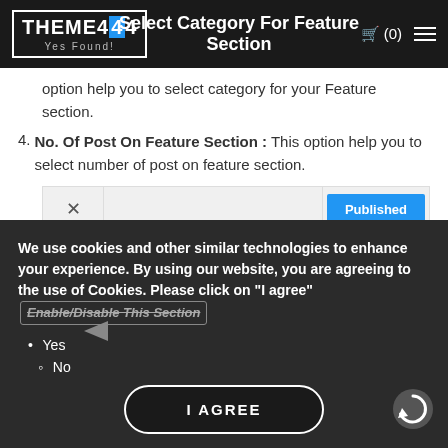THEME404 Yes Found! — Select Category For Feature Section — 🛒 (0)
option help you to select category for your Feature section.
4. No. Of Post On Feature Section: This option help you to select number of post on feature section.
[Figure (screenshot): WordPress customizer UI bar showing X close button, empty field, and blue Published button; breadcrumb: Customizing ▶ Front Page Setting; Feature Section panel title]
We use cookies and other similar technologies to enhance your experience. By using our website, you are agreeing to the use of Cookies. Please click on "I agree" Enable/Disable This Section
Yes
No
[Figure (screenshot): I AGREE button (dark with white border, rounded)]